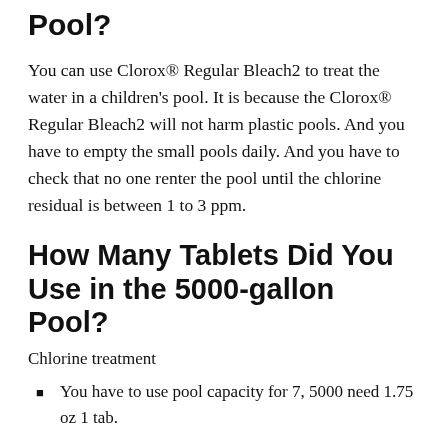Pool?
You can use Clorox® Regular Bleach2 to treat the water in a children's pool. It is because the Clorox® Regular Bleach2 will not harm plastic pools. And you have to empty the small pools daily. And you have to check that no one renter the pool until the chlorine residual is between 1 to 3 ppm.
How Many Tablets Did You Use in the 5000-gallon Pool?
Chlorine treatment
You have to use pool capacity for 7, 5000 need 1.75 oz 1 tab.
10,000 2.25 oz 1-2 tabs
12,500 2 oz 2 tabs...